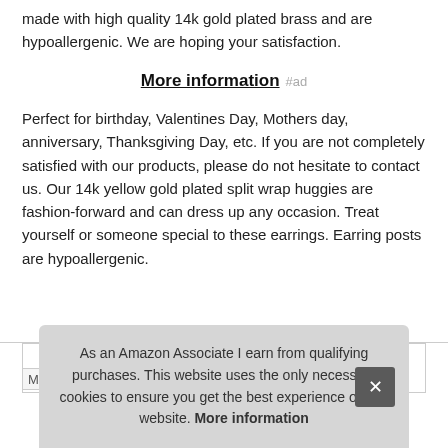made with high quality 14k gold plated brass and are hypoallergenic. We are hoping your satisfaction.
More information #ad
Perfect for birthday, Valentines Day, Mothers day, anniversary, Thanksgiving Day, etc. If you are not completely satisfied with our products, please do not hesitate to contact us. Our 14k yellow gold plated split wrap huggies are fashion-forward and can dress up any occasion. Treat yourself or someone special to these earrings. Earring posts are hypoallergenic.
As an Amazon Associate I earn from qualifying purchases. This website uses the only necessary cookies to ensure you get the best experience on our website. More information